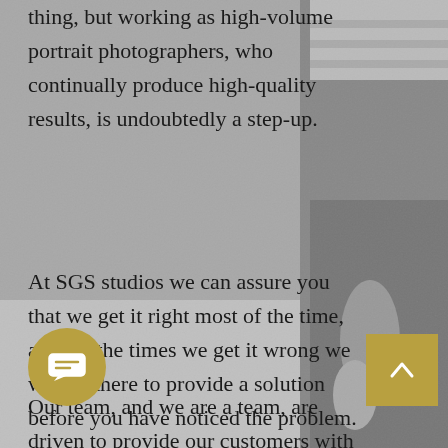[Figure (photo): Black and white photograph of a person standing outdoors, showing their torso and hands, wearing a floral skirt. Grainy outdoor background.]
thing, but working as high-volume portrait photographers, who continually produce high-quality results, is undoubtedly a step-up.
At SGS studios we can assure you that we get it right most of the time, and for the times we get it wrong we will be there to provide a solution before you have noticed the problem.
Our team, and we are a team, are driven to provide our customers with great products and to deliver successful projects no matter what it takes.